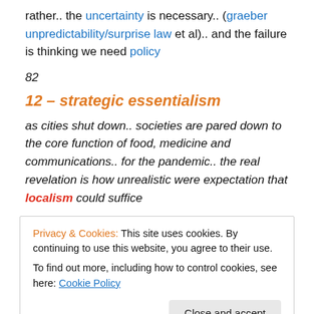rather.. the uncertainty is necessary.. (graeber unpredictability/surprise law et al).. and the failure is thinking we need policy
82
12 – strategic essentialism
as cities shut down.. societies are pared down to the core function of food, medicine and communications.. for the pandemic.. the real revelation is how unrealistic were expectation that localism could suffice
Privacy & Cookies: This site uses cookies. By continuing to use this website, you agree to their use. To find out more, including how to control cookies, see here: Cookie Policy Close and accept
what was most starkly revealed were incredible